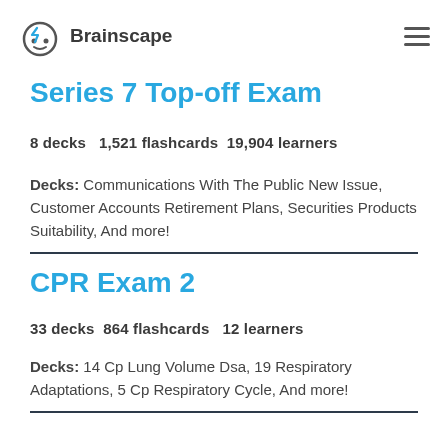Brainscape
Series 7 Top-off Exam
8 decks   1,521 flashcards  19,904 learners
Decks: Communications With The Public New Issue, Customer Accounts Retirement Plans, Securities Products Suitability, And more!
CPR Exam 2
33 decks  864 flashcards   12 learners
Decks: 14 Cp Lung Volume Dsa, 19 Respiratory Adaptations, 5 Cp Respiratory Cycle, And more!